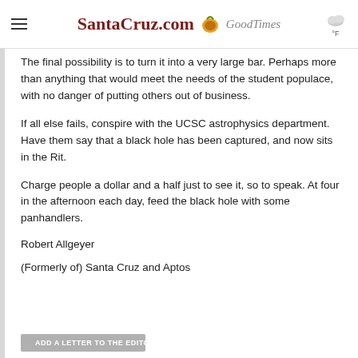SantaCruz.com Good Times
The final possibility is to turn it into a very large bar. Perhaps more than anything that would meet the needs of the student populace, with no danger of putting others out of business.
If all else fails, conspire with the UCSC astrophysics department. Have them say that a black hole has been captured, and now sits in the Rit.
Charge people a dollar and a half just to see it, so to speak. At four in the afternoon each day, feed the black hole with some panhandlers.
Robert Allgeyer
(Formerly of) Santa Cruz and Aptos